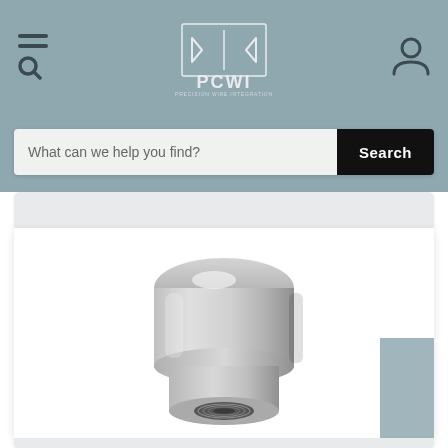[Figure (screenshot): Website header navigation bar with hamburger/search menu icon on left, PCWI (Precision Wire Integration) diamond logo in center, and user account icon on right, on steel-blue background]
[Figure (screenshot): Website search bar with placeholder text 'What can we help you find?' and black Search button on right]
[Figure (photo): Photo of a machined metal cylindrical fitting/connector with threaded interior bore, polished stainless steel finish, viewed from a front-angled perspective showing the threaded hole opening]